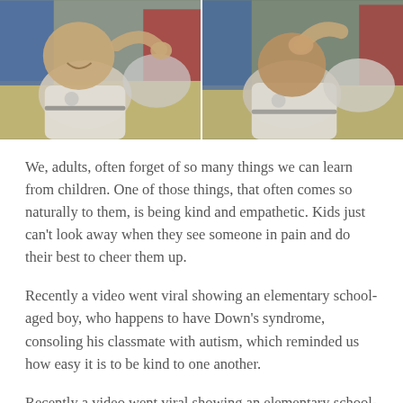[Figure (photo): Two side-by-side photos of an elementary school-aged boy with Down's syndrome hugging/consoling a classmate at a school desk. Left photo shows the boy smiling with his arm around the other child. Right photo shows a closer view of the same moment. Colorful red and blue chairs visible in the background.]
We, adults, often forget of so many things we can learn from children. One of those things, that often comes so naturally to them, is being kind and empathetic. Kids just can't look away when they see someone in pain and do their best to cheer them up.
Recently a video went viral showing an elementary school-aged boy, who happens to have Down's syndrome, consoling his classmate with autism, which reminded us how easy it is to be kind to one another.
Recently a video went viral showing an elementary school-